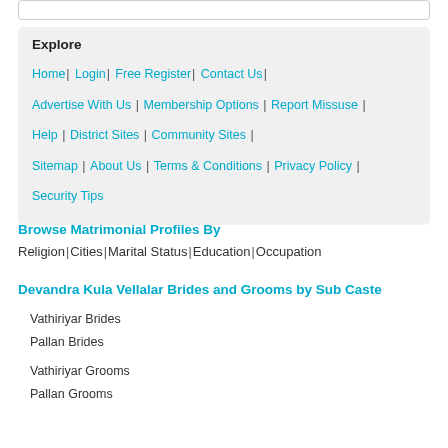Explore
Home | Login | Free Register | Contact Us |
Advertise With Us | Membership Options | Report Missuse |
Help | District Sites | Community Sites |
Sitemap | About Us | Terms & Conditions | Privacy Policy | Security Tips
Browse Matrimonial Profiles By
Religion | Cities | Marital Status | Education | Occupation
Devandra Kula Vellalar Brides and Grooms by Sub Caste
Vathiriyar Brides
Pallan Brides
Vathiriyar Grooms
Pallan Grooms